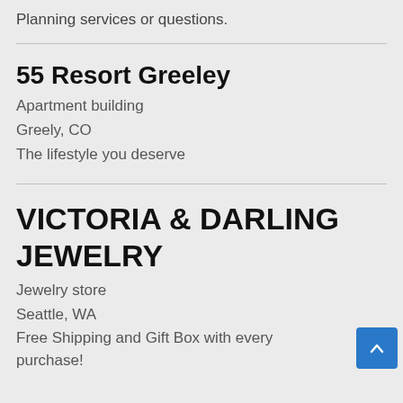Planning services or questions.
55 Resort Greeley
Apartment building
Greely, CO
The lifestyle you deserve
VICTORIA & DARLING JEWELRY
Jewelry store
Seattle, WA
Free Shipping and Gift Box with every purchase!